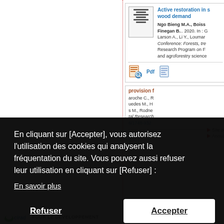[Figure (screenshot): Screenshot of a scientific repository search result page showing a publication entry for 'Active restoration in s... wood demand' by Ngo Bieng M.A., Boiss..., Finegan B., 2020, with PDF and document icons. A second partially visible result shows 'provision f...' with authors including aroche C., uedes M., s M., Rodne... from tal Research, with a document link 8/1748-932... A cookie consent overlay covers the lower portion of the page with text in French asking to accept or refuse cookies. At the bottom, a CIRAD logo and text 'POUR LE DEVELOPPEMENT' are visible.]
En cliquant sur [Accepter], vous autorisez l'utilisation des cookies qui analysent la fréquentation du site. Vous pouvez aussi refuser leur utilisation en cliquant sur [Refuser] :
En savoir plus
Refuser
Accepter
POUR LE DEVELOPPEMENT